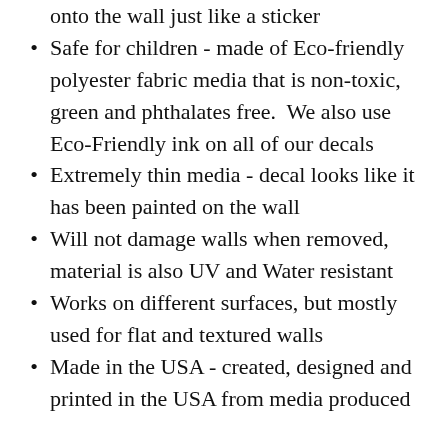onto the wall just like a sticker
Safe for children - made of Eco-friendly polyester fabric media that is non-toxic, green and phthalates free.  We also use Eco-Friendly ink on all of our decals
Extremely thin media - decal looks like it has been painted on the wall
Will not damage walls when removed, material is also UV and Water resistant
Works on different surfaces, but mostly used for flat and textured walls
Made in the USA - created, designed and printed in the USA from media produced